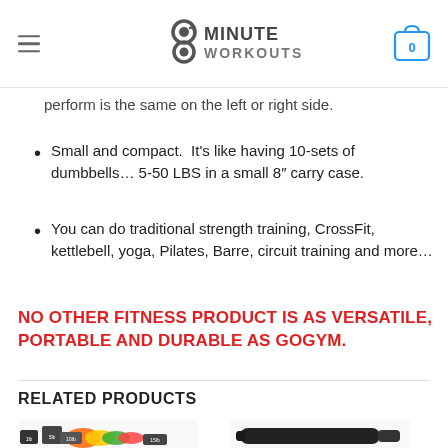8 Minute Workouts
perform is the same on the left or right side.
Small and compact.  It's like having 10-sets of dumbbells… 5-50 LBS in a small 8" carry case.
You can do traditional strength training, CrossFit, kettlebell, yoga, Pilates, Barre, circuit training and more…
NO OTHER FITNESS PRODUCT IS AS VERSATILE, PORTABLE AND DURABLE AS GOGYM.
RELATED PRODUCTS
[Figure (photo): Product image showing resistance bands with labeled weights (1lb, 5lb, 10lb, 15lb) in bright colors (orange, yellow, green)]
[Figure (photo): Product image showing a black resistance band handle or exercise device]